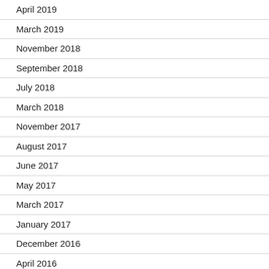April 2019
March 2019
November 2018
September 2018
July 2018
March 2018
November 2017
August 2017
June 2017
May 2017
March 2017
January 2017
December 2016
April 2016